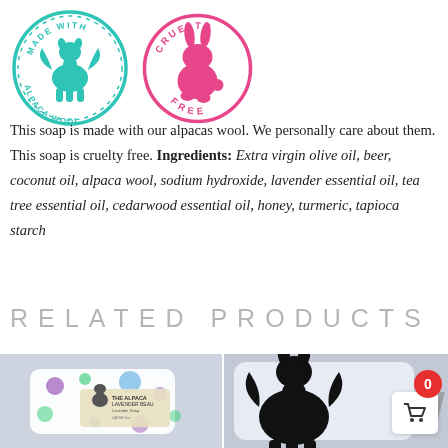[Figure (logo): Two circular badge logos side by side: left badge is teal/cyan with a winged alpaca and text 'MADE WITH ALPACA WOOL'; right badge is pink/magenta outline with a rabbit silhouette and text 'CRUELTY FREE']
This soap is made with our alpacas wool. We personally care about them. This soap is cruelty free. Ingredients: Extra virgin olive oil, beer, coconut oil, alpaca wool, sodium hydroxide, lavender essential oil, tea tree essential oil, cedarwood essential oil, honey, turmeric, tapioca starch
RELATED PRODUCTS
[Figure (photo): Photo of a soap bar with colorful polka dot packaging labeled 'THE ALPACA BEAU Lavender Soap' with an alpaca image]
[Figure (photo): Photo of a soap bar with black and white alpaca silhouette design on packaging]